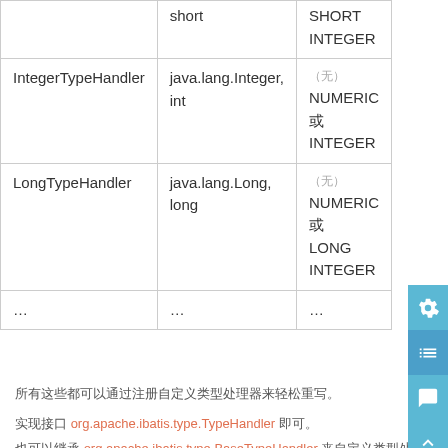| TypeHandler | Java类型 | JDBC类型 |
| --- | --- | --- |
|  | short | SHORT
INTEGER |
| IntegerTypeHandler | java.lang.Integer,
int | （无）
NUMERIC 或
INTEGER |
| LongTypeHandler | java.lang.Long,
long | （无）
NUMERIC 或
LONG
INTEGER |
| ... | ... | ... |
所有这些都可以通过注册自定义类型处理器来轻松重写。
实现接口 org.apache.ibatis.type.TypeHandler 即可。
也可以继承 org.apache.ibatis.type.BaseTypeHandler 来自定义类型处理器。